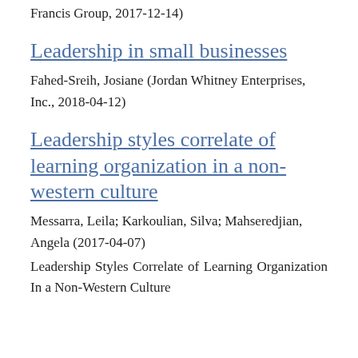Francis Group, 2017-12-14)
Leadership in small businesses
Fahed-Sreih, Josiane (Jordan Whitney Enterprises, Inc., 2018-04-12)
Leadership styles correlate of learning organization in a non-western culture
Messarra, Leila; Karkoulian, Silva; Mahseredjian, Angela (2017-04-07)
Leadership Styles Correlate of Learning Organization In a Non-Western Culture